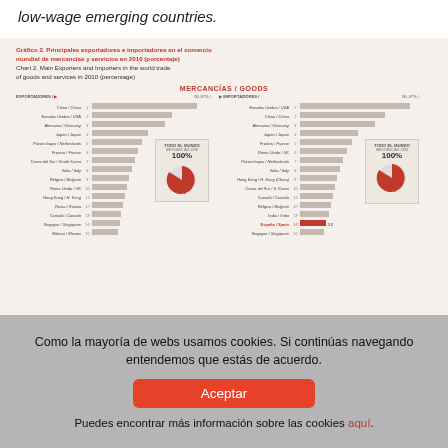low-wage emerging countries.
[Figure (infographic): Gráfico 2: Principales exportadores e importadores en el comercio mundial de mercancías y servicios en 2010 (porcentaje) / Chart 2: Main Exporters and Importers in the world trade of goods and services in 2010 (percentage). Bar chart showing ranked countries for MERCANCÍAS / GOODS with exporters on left and importers on right. Includes pie charts labeled TODO EL MUNDO. España/Spain highlighted at 14th position for importers.]
Como la mayoría de webs usamos cookies. Si continúas navegando entendemos que estás de acuerdo.
Aceptar
Puedes encontrar más información sobre las cookies aquí.